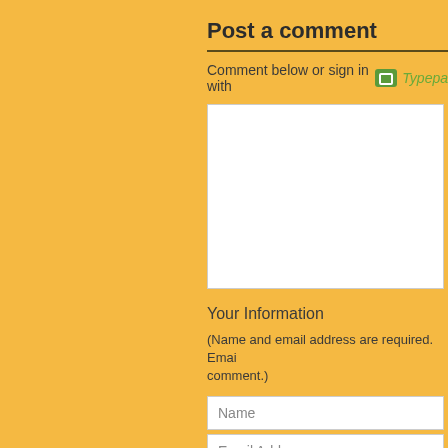Post a comment
Comment below or sign in with Typepad
[Figure (other): Large white textarea for comment input]
Your Information
(Name and email address are required. Email address will not be displayed with the comment.)
Name
Email Address
Web Site URL
Post  Preview